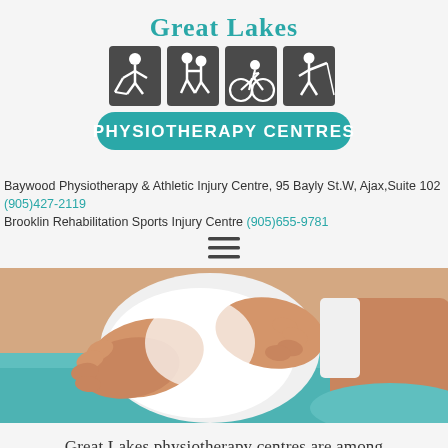[Figure (logo): Great Lakes Physiotherapy Centres logo with teal text and four sport activity icons on dark grey background]
Baywood Physiotherapy & Athletic Injury Centre, 95 Bayly St.W, Ajax,Suite 102 (905)427-2119
Brooklin Rehabilitation Sports Injury Centre (905)655-9781
[Figure (other): Hamburger menu icon (three horizontal lines)]
[Figure (photo): Close-up photo of a physiotherapist's hands treating a patient's knee, with a teal towel underneath]
Great Lakes physiotherapy centres are among